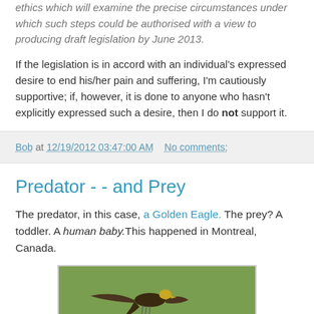ethics which will examine the precise circumstances under which such steps could be authorised with a view to producing draft legislation by June 2013.
If the legislation is in accord with an individual's expressed desire to end his/her pain and suffering, I'm cautiously supportive; if, however, it is done to anyone who hasn't explicitly expressed such a desire, then I do not support it.
Bob at 12/19/2012 03:47:00 AM   No comments:
Predator - - and Prey
The predator, in this case, a Golden Eagle. The prey? A toddler. A human baby.This happened in Montreal, Canada.
[Figure (photo): A golden eagle swooping down toward the ground, wings spread wide, photographed outdoors on grass.]